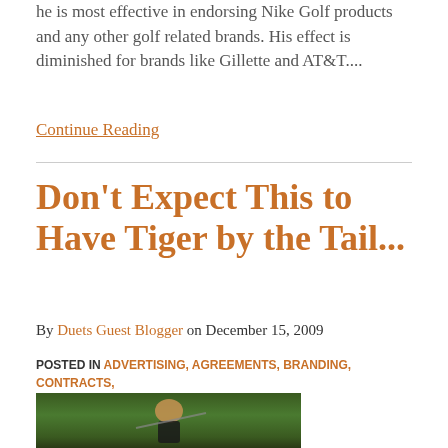he is most effective in endorsing Nike Golf products and any other golf related brands. His effect is diminished for brands like Gillette and AT&T....
Continue Reading
Don’t Expect This to Have Tiger by the Tail...
By Duets Guest Blogger on December 15, 2009
POSTED IN ADVERTISING, AGREEMENTS, BRANDING, CONTRACTS, GUEST BLOGGERS, MARKETING
[Figure (photo): Photo of a golfer (Tiger Woods) mid-swing with a golf club, wearing a white hat, with green foliage in the background]